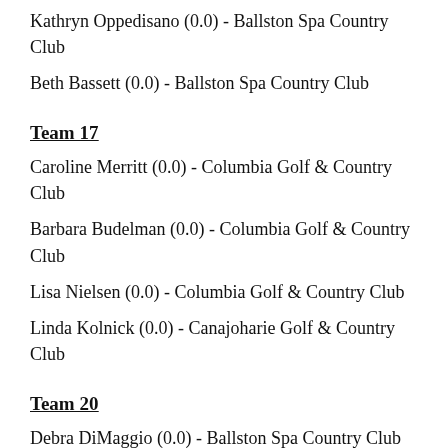Kathryn Oppedisano (0.0) - Ballston Spa Country Club
Beth Bassett (0.0) - Ballston Spa Country Club
Team 17
Caroline Merritt (0.0) - Columbia Golf & Country Club
Barbara Budelman (0.0) - Columbia Golf & Country Club
Lisa Nielsen (0.0) - Columbia Golf & Country Club
Linda Kolnick (0.0) - Canajoharie Golf & Country Club
Team 20
Debra DiMaggio (0.0) - Ballston Spa Country Club
Stephanie Suozzo (0.0) - Albany Country Club